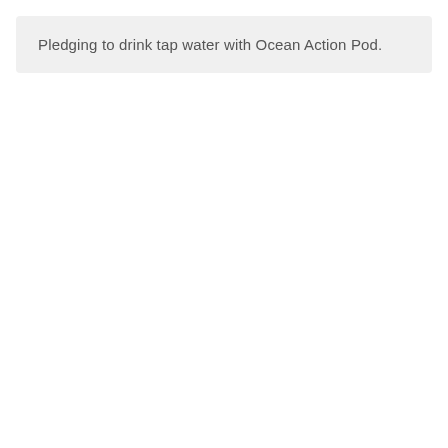Pledging to drink tap water with Ocean Action Pod.